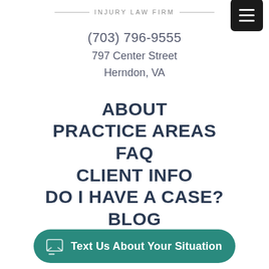INJURY LAW FIRM
(703) 796-9555
797 Center Street
Herndon, VA
ABOUT
PRACTICE AREAS
FAQ
CLIENT INFO
DO I HAVE A CASE?
BLOG
CONTACT US
Text Us About Your Situation